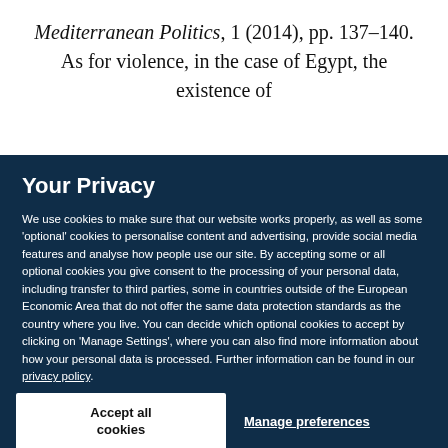Mediterranean Politics, 1 (2014), pp. 137–140. As for violence, in the case of Egypt, the existence of
Your Privacy
We use cookies to make sure that our website works properly, as well as some 'optional' cookies to personalise content and advertising, provide social media features and analyse how people use our site. By accepting some or all optional cookies you give consent to the processing of your personal data, including transfer to third parties, some in countries outside of the European Economic Area that do not offer the same data protection standards as the country where you live. You can decide which optional cookies to accept by clicking on 'Manage Settings', where you can also find more information about how your personal data is processed. Further information can be found in our privacy policy.
Accept all cookies
Manage preferences